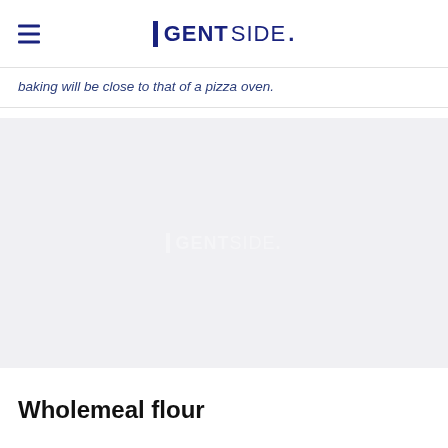GENTSIDE.
baking will be close to that of a pizza oven.
[Figure (photo): Light grey placeholder image area with a faint white GENTSIDE watermark logo centered in the middle.]
Wholemeal flour